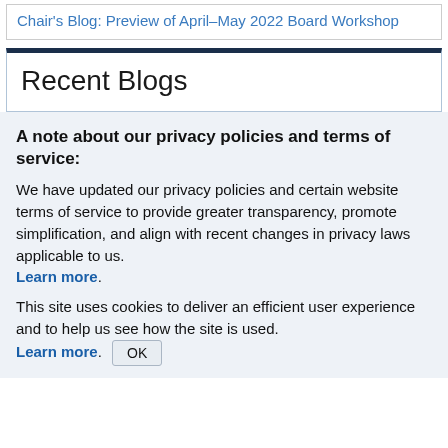Chair's Blog: Preview of April–May 2022 Board Workshop
Recent Blogs
A note about our privacy policies and terms of service:
We have updated our privacy policies and certain website terms of service to provide greater transparency, promote simplification, and align with recent changes in privacy laws applicable to us. Learn more.
This site uses cookies to deliver an efficient user experience and to help us see how the site is used. Learn more. OK